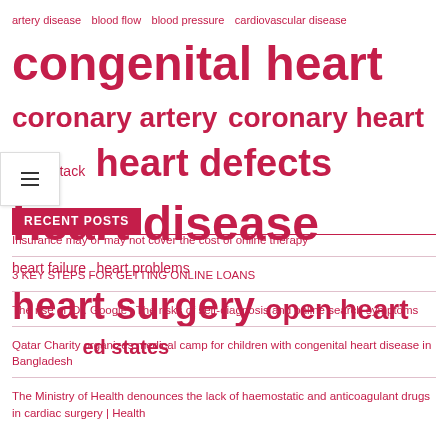[Figure (infographic): Tag cloud of medical/health terms in varying sizes and boldness, all in crimson/dark pink color. Terms include: artery disease, blood flow, blood pressure, cardiovascular disease, congenital heart, coronary artery, coronary heart, heart attack, heart defects, heart disease, heart failure, heart problems, heart surgery, open heart, united states]
RECENT POSTS
Insurance may or may not cover the cost of online therapy
3 KEY STEPS FOR GETTING ONLINE LOANS
The rise of ‘Dr. Google’: The risks of self-diagnosis and online search symptoms
Qatar Charity organizes medical camp for children with congenital heart disease in Bangladesh
The Ministry of Health denounces the lack of haemostatic and anticoagulant drugs in cardiac surgery | Health